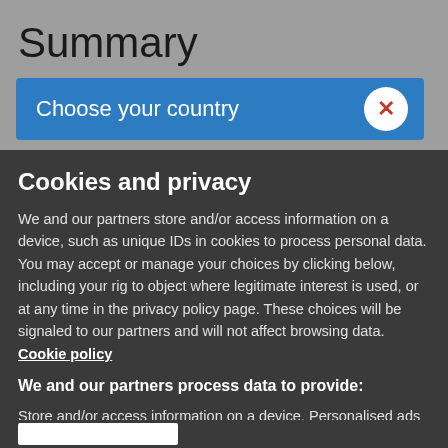Summary
[Figure (screenshot): Blue dialog bar with text 'Choose your country' and a white circular close button with a red X on the right]
Cookies and privacy
We and our partners store and/or access information on a device, such as unique IDs in cookies to process personal data. You may accept or manage your choices by clicking below, including your rig to object where legitimate interest is used, or at any time in the privacy policy page. These choices will be signaled to our partners and will not affect browsing data. Cookie policy
We and our partners process data to provide:
Store and/or access information on a device, Personalised ads and content, ad and content measurement, audience insights and produ development, Use precise geolocation data, Actively scan device characteristics for identification
List of Partners (vendors)